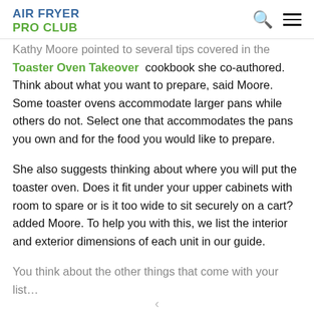AIR FRYER PRO CLUB
Kathy Moore pointed to several tips covered in the Toaster Oven Takeover cookbook she co-authored. Think about what you want to prepare, said Moore. Some toaster ovens accommodate larger pans while others do not. Select one that accommodates the pans you own and for the food you would like to prepare.
She also suggests thinking about where you will put the toaster oven. Does it fit under your upper cabinets with room to spare or is it too wide to sit securely on a cart? added Moore. To help you with this, we list the interior and exterior dimensions of each unit in our guide.
You think about the other things that come with your list…